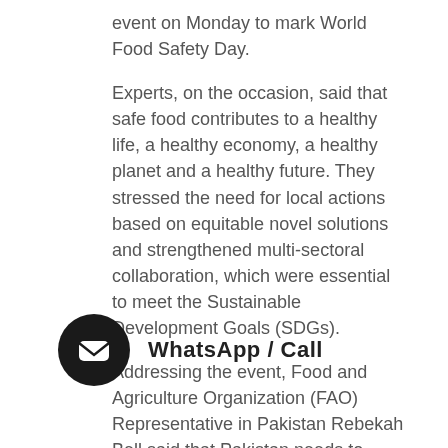event on Monday to mark World Food Safety Day.
Experts, on the occasion, said that safe food contributes to a healthy life, a healthy economy, a healthy planet and a healthy future. They stressed the need for local actions based on equitable novel solutions and strengthened multi-sectoral collaboration, which were essential to meet the Sustainable Development Goals (SDGs).
Addressing the event, Food and Agriculture Organization (FAO) Representative in Pakistan Rebekah Bell said that Pakistan needs to ensure food safety throughout the agriculture value chain from farm to fork level.
“We are currently relying on fresh produce, but by having food industries and processing capacity following principles of food safety, Pakistan has a lot of potential to increase food exports and generating
[Figure (other): WhatsApp/Call button overlay with dark circular icon and label text]